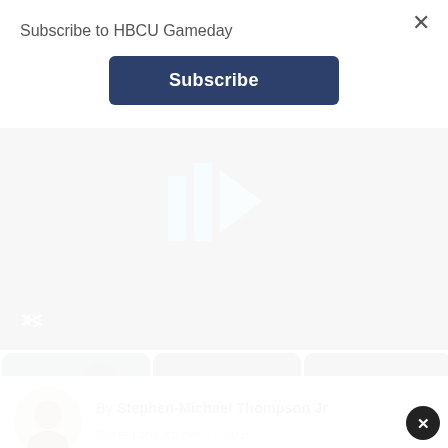Subscribe to HBCU Gameday
Subscribe
[Figure (screenshot): Dark video player showing a football stadium scene with a play icon composed of blue bars and triangle. A mute/unmute button is visible at the bottom left.]
[Figure (photo): Thumbnail: MEAC/SWAC Challenge 2022 Highlights - dark stadium with players]
[Figure (photo): Thumbnail: FAMU vs UNC || Week Zero || Highlights - players in orange and blue uniforms]
[Figure (photo): Thumbnail: FAMU Marching 100 and UNC Marching Tar Heels joint... - stadium night scene]
By Stephen-Michael Thompson Jr
Posted on October 27, 2019